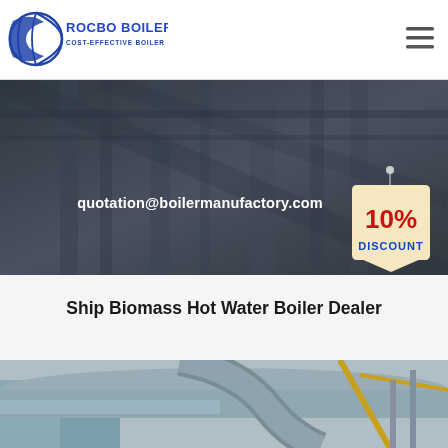[Figure (logo): Rocbo Boiler logo with blue crescent/globe graphic, text ROCBO BOILER in blue, subtitle COST-EFFECTIVE BOILER SUPPLIER]
[Figure (infographic): Dark industrial banner background with text quotation@boilermanufactory.com and a 10% DISCOUNT badge on the right]
Ship Biomass Hot Water Boiler Dealer
[Figure (photo): Industrial boiler facility photo showing large pipes and crane equipment]